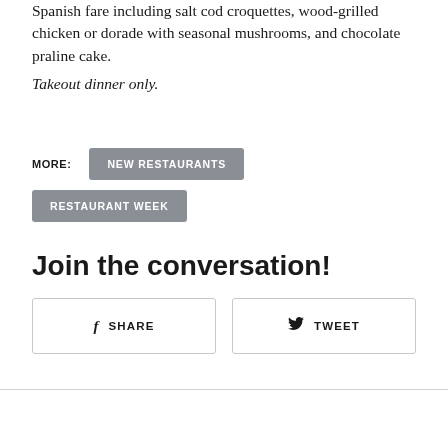Spanish fare including salt cod croquettes, wood-grilled chicken or dorade with seasonal mushrooms, and chocolate praline cake. Takeout dinner only.
MORE: NEW RESTAURANTS RESTAURANT WEEK
Join the conversation!
SHARE   TWEET